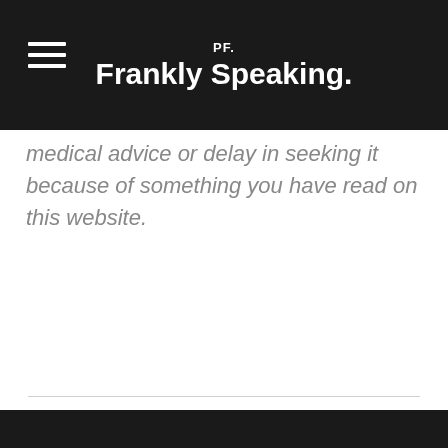PF. Frankly Speaking.
medical advice or delay in seeking it because of something you have read on this website.
Categories: Healthy Stuff, Helpful Stuff
Tags: Deodorant, Detox, Irritation, Tips & Tricks